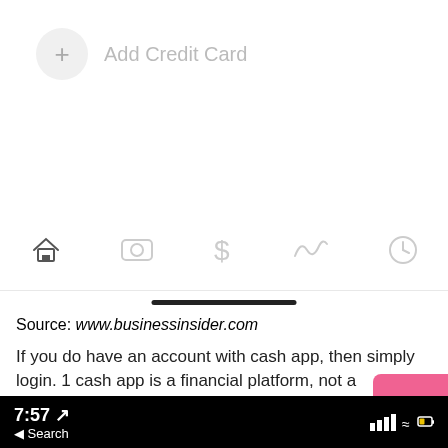[Figure (screenshot): Mobile app UI showing an Add Credit Card button with a plus icon in a circle, followed by a navigation bar with five icons: home, card, dollar sign, activity, and clock. A home indicator bar is shown below.]
Source: www.businessinsider.com
If you do have an account with cash app, then simply login. 1 cash app is a financial platform, not a
[Figure (screenshot): Pink TOP button overlay in bottom-right corner]
7:57  Search